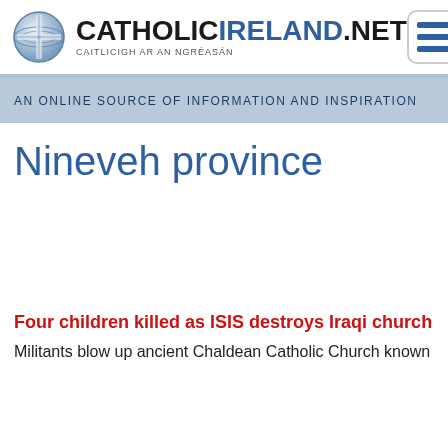[Figure (logo): CatholicIreland.net logo with globe/cross icon and text CATHOLICIRELAND.NET, CAITLICIGH AR AN NGRÉASÁN]
AN ONLINE SOURCE OF INFORMATION AND INSPIRATION
Nineveh province
Four children killed as ISIS destroys Iraqi church
Militants blow up ancient Chaldean Catholic Church known